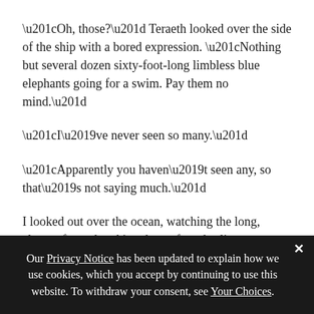“Oh, those?” Teraeth looked over the side of the ship with a bored expression. “Nothing but several dozen sixty-foot-long limbless blue elephants going for a swim. Pay them no mind.”
“I’ve never seen so many.”
“Apparently you haven’t seen any, so that’s not saying much.”
I looked out over the ocean, watching the long, elegant forms breaking the surface, hurling themselves into the air to come crashing back down. After a few minutes, I stopped smiling.
Our Privacy Notice has been updated to explain how we use cookies, which you accept by continuing to use this website. To withdraw your consent, see Your Choices.